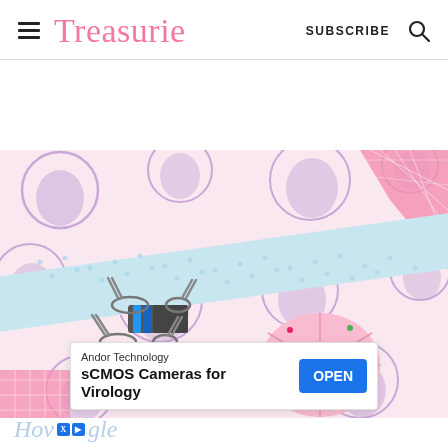Treasurie  SUBSCRIBE
[Figure (photo): Flat lay of sewing/crafting materials on a pink decorative background with purple circle patterns: a blue polka-dot fabric strip, binder clips in blue/red/yellow colors, and a pink pin cushion with a red button center, plus a pink cutting mat in corner.]
[Figure (screenshot): Ad banner: Andor Technology - sCMOS Cameras for Virology with blue OPEN button]
How ... gle